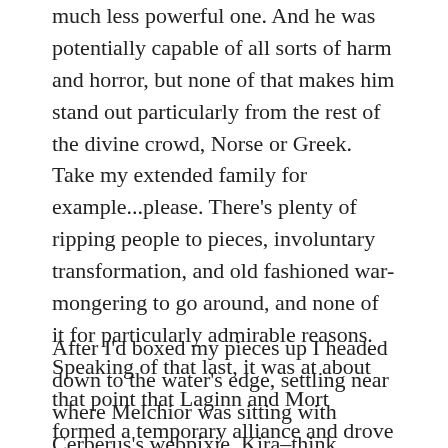much less powerful one. And he was potentially capable of all sorts of harm and horror, but none of that makes him stand out particularly from the rest of the divine crowd, Norse or Greek. Take my extended family for example...please. There's plenty of ripping people to pieces, involuntary transformation, and old fashioned war-mongering to go around, and none of it for particularly admirable reasons. Speaking of that last, it was at about that point that Laginn and Mort formed a temporary alliance and drove my game armies into the sea.
After I'd boxed my pieces up I headed down to the water's edge, settling near where Melchior was sitting with Cerberus's webpixie, Kira–think iPhone